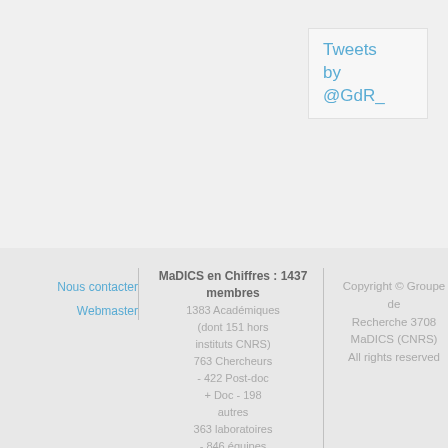Tweets by @GdR_
Nous contacter
Webmaster
MaDICS en Chiffres : 1437 membres
1383 Académiques (dont 151 hors instituts CNRS) 763 Chercheurs - 422 Post-doc + Doc - 198 autres 363 laboratoires - 846 équipes de recherche 54 industriels
Copyright © Groupe de Recherche 3708 MaDICS (CNRS) All rights reserved